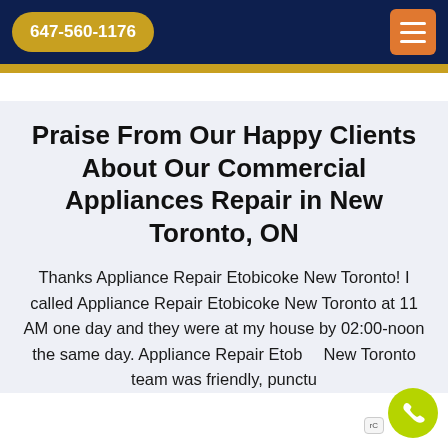647-560-1176
Praise From Our Happy Clients About Our Commercial Appliances Repair in New Toronto, ON
Thanks Appliance Repair Etobicoke New Toronto! I called Appliance Repair Etobicoke New Toronto at 11 AM one day and they were at my house by 02:00-noon the same day. Appliance Repair Etobicoke New Toronto team was friendly, punctual